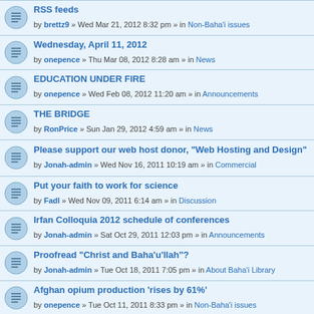RSS feeds
by brettz9 » Wed Mar 21, 2012 8:32 pm » in Non-Baha'i issues
Wednesday, April 11, 2012
by onepence » Thu Mar 08, 2012 8:28 am » in News
EDUCATION UNDER FIRE
by onepence » Wed Feb 08, 2012 11:20 am » in Announcements
THE BRIDGE
by RonPrice » Sun Jan 29, 2012 4:59 am » in News
Please support our web host donor, "Web Hosting and Design"
by Jonah-admin » Wed Nov 16, 2011 10:19 am » in Commercial
Put your faith to work for science
by Fadl » Wed Nov 09, 2011 6:14 am » in Discussion
Irfan Colloquia 2012 schedule of conferences
by Jonah-admin » Sat Oct 29, 2011 12:03 pm » in Announcements
Proofread "Christ and Baha'u'llah"?
by Jonah-admin » Tue Oct 18, 2011 7:05 pm » in About Baha'i Library
Afghan opium production 'rises by 61%'
by onepence » Tue Oct 11, 2011 8:33 pm » in Non-Baha'i issues
Parliament of Canada discusses the situation of the Baha'is
by onepence » Sat Oct 08, 2011 9:53 am » in News
Supreme Court Decides Software Law By Not Deciding
by onepence » Tue Oct 04, 2011 2:15 pm » in Non-Baha'i issues